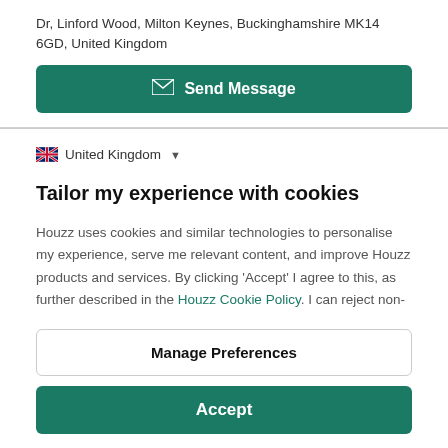Dr, Linford Wood, Milton Keynes, Buckinghamshire MK14 6GD, United Kingdom
Send Message
United Kingdom
Tailor my experience with cookies
Houzz uses cookies and similar technologies to personalise my experience, serve me relevant content, and improve Houzz products and services. By clicking 'Accept' I agree to this, as further described in the Houzz Cookie Policy. I can reject non-
Manage Preferences
Accept